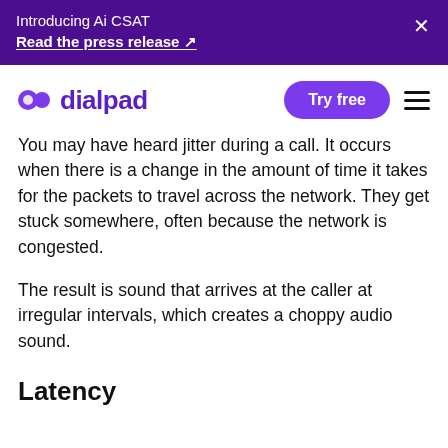Introducing Ai CSAT
Read the press release ↗
[Figure (logo): Dialpad logo with purple icon and purple wordmark 'dialpad']
You may have heard jitter during a call. It occurs when there is a change in the amount of time it takes for the packets to travel across the network. They get stuck somewhere, often because the network is congested.
The result is sound that arrives at the caller at irregular intervals, which creates a choppy audio sound.
Latency